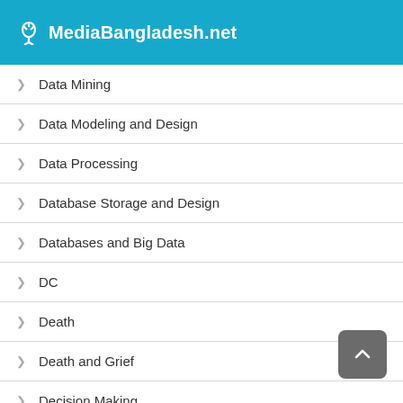MediaBangladesh.net
Data Mining
Data Modeling and Design
Data Processing
Database Storage and Design
Databases and Big Data
DC
Death
Death and Grief
Decision Making
Decision-Making and Problem Solving